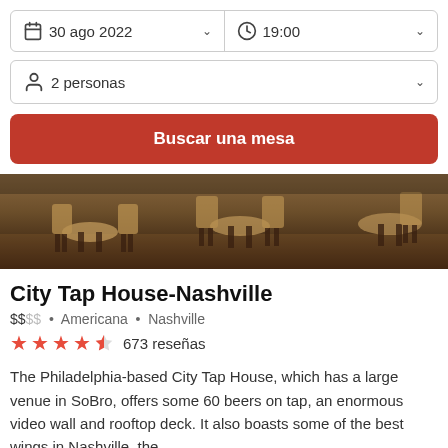30 ago 2022  19:00
2 personas
Buscar una mesa
[Figure (photo): Interior of a restaurant with wooden chairs and round tables in a dimly lit setting]
City Tap House-Nashville
$$$$  •  Americana  •  Nashville
★★★★½  673 reseñas
The Philadelphia-based City Tap House, which has a large venue in SoBro, offers some 60 beers on tap, an enormous video wall and rooftop deck. It also boasts some of the best wings in Nashville, the....